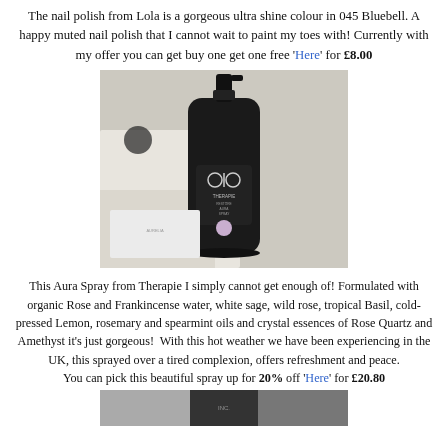The nail polish from Lola is a gorgeous ultra shine colour in 045 Bluebell. A happy muted nail polish that I cannot wait to paint my toes with! Currently with my offer you can get buy one get one free 'Here' for £8.00
[Figure (photo): A black spray bottle labeled 'Therapie Restore Aura Spray' by Jacques Cher, sitting on a white surface with white packaging in the background.]
This Aura Spray from Therapie I simply cannot get enough of! Formulated with organic Rose and Frankincense water, white sage, wild rose, tropical Basil, cold-pressed Lemon, rosemary and spearmint oils and crystal essences of Rose Quartz and Amethyst it's just gorgeous! With this hot weather we have been experiencing in the UK, this sprayed over a tired complexion, offers refreshment and peace. You can pick this beautiful spray up for 20% off 'Here' for £20.80
[Figure (photo): Bottom portion of another product image, dark background, partially visible.]